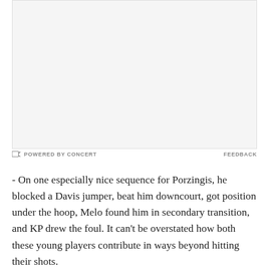[Figure (other): Embedded media/video placeholder area with light gray background]
POWERED BY CONCERT   FEEDBACK
- On one especially nice sequence for Porzingis, he blocked a Davis jumper, beat him downcourt, got position under the hoop, Melo found him in secondary transition, and KP drew the foul. It can't be overstated how both these young players contribute in ways beyond hitting their shots.